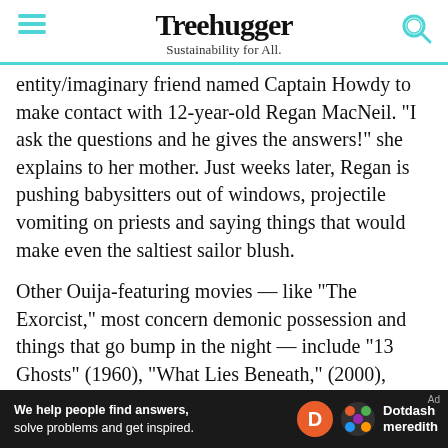Treehugger — Sustainability for All.
entity/imaginary friend named Captain Howdy to make contact with 12-year-old Regan MacNeil. "I ask the questions and he gives the answers!" she explains to her mother. Just weeks later, Regan is pushing babysitters out of windows, projectile vomiting on priests and saying things that would make even the saltiest sailor blush.
Other Ouija-featuring movies — like "The Exorcist," most concern demonic possession and things that go bump in the night — include "13 Ghosts" (1960), "What Lies Beneath," (2000), "Paranormal Activity" (2007), "The Conjuring 2" (2016) and "Ouija: Origin of Evil" a
[Figure (other): Dotdash Meredith advertisement banner at bottom of page with text 'We help people find answers, solve problems and get inspired.' and Dotdash Meredith logo.]